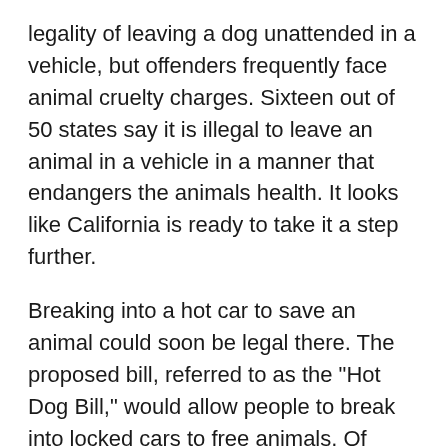legality of leaving a dog unattended in a vehicle, but offenders frequently face animal cruelty charges. Sixteen out of 50 states say it is illegal to leave an animal in a vehicle in a manner that endangers the animals health. It looks like California is ready to take it a step further.
Breaking into a hot car to save an animal could soon be legal there. The proposed bill, referred to as the "Hot Dog Bill," would allow people to break into locked cars to free animals. Of course you would have to contact police first to help determine whether or not the dog is in danger and to alert them of the situation.
A man in Florida recently did just that after seeing a black lab locked in a pickup truck with the windows rolled up. Cops told him it would take 45 minutes to get